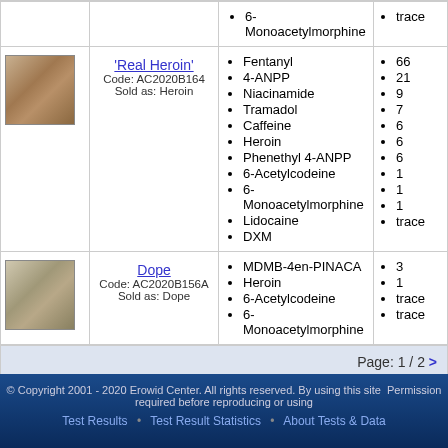| Image | Name/Code | Substances | Amount |
| --- | --- | --- | --- |
| [image] | 'Real Heroin'
Code: AC2020B164
Sold as: Heroin | Fentanyl
4-ANPP
Niacinamide
Tramadol
Caffeine
Heroin
Phenethyl 4-ANPP
6-Acetylcodeine
6-Monoacetylmorphine
Lidocaine
DXM | 66
21
9
7
6
6
6
1
1
1
trace |
| [image] | Dope
Code: AC2020B156A
Sold as: Dope | MDMB-4en-PINACA
Heroin
6-Acetylcodeine
6-Monoacetylmorphine | 3
1
trace
trace |
Page: 1 / 2 >
© Copyright 2001 - 2020 Erowid Center. All rights reserved. By using this site Permission required before reproducing or using
Test Results • Test Result Statistics • About Tests & Data